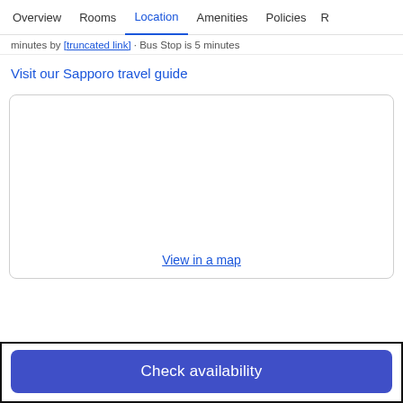Overview  Rooms  Location  Amenities  Policies  R
minutes by [truncated link] · Bus Stop is 5 minutes
Visit our Sapporo travel guide
[Figure (map): Empty map placeholder box with 'View in a map' link at the bottom]
View in a map
Check availability